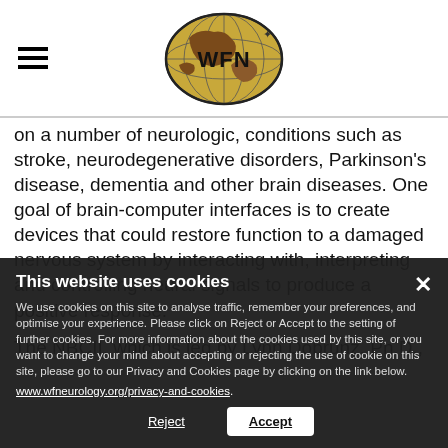[Figure (logo): WFN (World Federation of Neurology) logo — globe with WFN text and laurel, gold and brown colors]
on a number of neurologic, conditions such as stroke, neurodegenerative disorders, Parkinson's disease, dementia and other brain diseases. One goal of brain-computer interfaces is to create devices that could restore function to a damaged nervous system by interacting with, interpreting and controlling neural signals to produce a positive response.
The NBCII, which is led by Lynn Dobrunz, Ph.D.,
This website uses cookies
We use cookies on this site to analyse traffic, remember your preferences, and optimise your experience. Please click on Reject or Accept to the setting of further cookies. For more information about the cookies used by this site, or you want to change your mind about accepting or rejecting the use of cookie on this site, please go to our Privacy and Cookies page by clicking on the link below.
www.wfneurology.org/privacy-and-cookies.
Reject   Accept